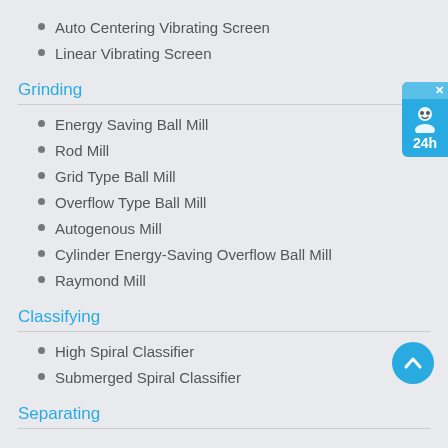Auto Centering Vibrating Screen
Linear Vibrating Screen
Grinding
Energy Saving Ball Mill
Rod Mill
Grid Type Ball Mill
Overflow Type Ball Mill
Autogenous Mill
Cylinder Energy-Saving Overflow Ball Mill
Raymond Mill
Classifying
High Spiral Classifier
Submerged Spiral Classifier
Separating